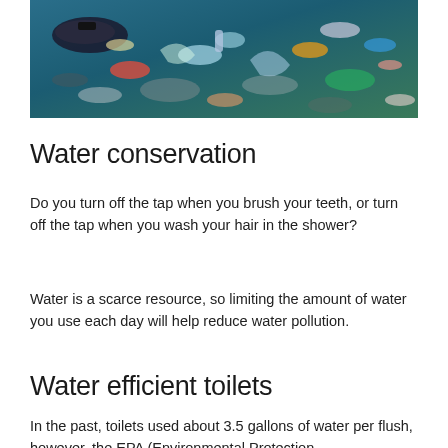[Figure (photo): Aerial view of colorful plastic waste and garbage including bottles, bags, and other debris piled together]
Water conservation
Do you turn off the tap when you brush your teeth, or turn off the tap when you wash your hair in the shower?
Water is a scarce resource, so limiting the amount of water you use each day will help reduce water pollution.
Water efficient toilets
In the past, toilets used about 3.5 gallons of water per flush, however, the EPA (Environmental Protection